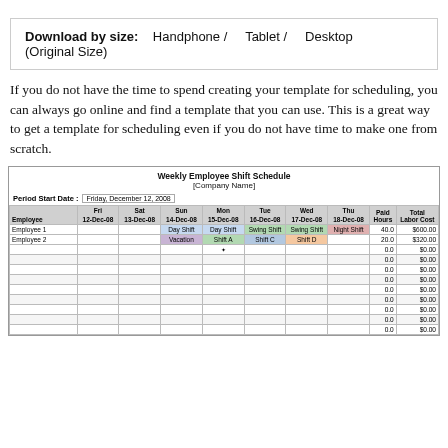Download by size:    Handphone ╱    Tablet ╱    Desktop (Original Size)
If you do not have the time to spend creating your template for scheduling, you can always go online and find a template that you can use. This is a great way to get a template for scheduling even if you do not have time to make one from scratch.
[Figure (screenshot): Weekly Employee Shift Schedule spreadsheet showing [Company Name], Period Start Date: Friday, December 12, 2008, columns for Employee, Fri 12-Dec-08, Sat 13-Dec-08, Sun 14-Dec-08, Mon 15-Dec-08, Tue 16-Dec-08, Wed 17-Dec-08, Thu 18-Dec-08, Paid Hours, Total Labor Cost. Employee 1: Day Shift, Day Shift, Swing Shift, Swing Shift, Night Shift, 40.0, $600.00. Employee 2: Vacation, Shift A, Shift C, Shift D, 20.0, $320.00. Remaining rows show 0.0 hours and $0.00 cost.]